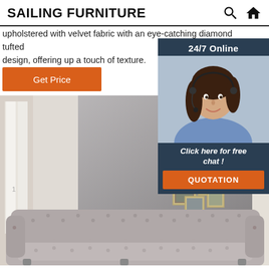SAILING FURNITURE
upholstered with velvet fabric with an eye-catching diamond tufted design, offering up a touch of texture.
Get Price
[Figure (photo): Customer service agent (woman with headset smiling) with 24/7 Online label, Click here for free chat!, and QUOTATION button on dark navy background]
[Figure (photo): Living room scene with a gray tufted Chesterfield sofa, gray wall panel with framed pictures, and bright windows]